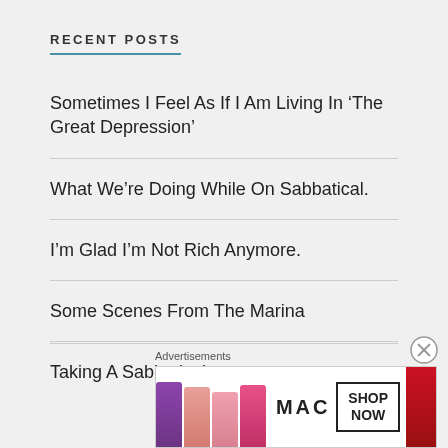RECENT POSTS
Sometimes I Feel As If I Am Living In ‘The Great Depression’
What We’re Doing While On Sabbatical.
I’m Glad I’m Not Rich Anymore.
Some Scenes From The Marina
Taking A Sabbatical.
Advertisements
[Figure (other): MAC Cosmetics advertisement showing lipsticks and SHOP NOW button]